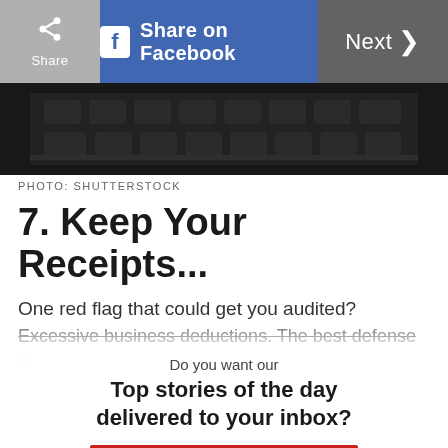Share | Share on Facebook | Next >
[Figure (photo): Dark close-up photo of a keyboard or similar dark mechanical surface]
PHOTO: SHUTTERSTOCK
7. Keep Your Receipts...
One red flag that could get you audited? Excessive business deductions. The best defense is
Do you want our
Top stories of the day delivered to your inbox?
YES PLEASE!
NO THANKS